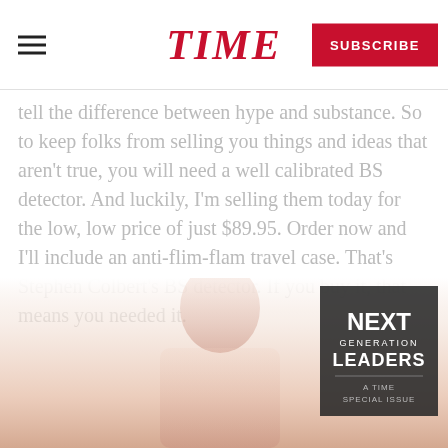TIME — SUBSCRIBE
tell the difference between hype and substance. So to keep folks from selling you things and ideas that aren't true, you will need a well calibrated BS detector. And luckily, I'm selling them today for the low, low price of just $89.95. Order now and I'll include an anti-flim-flam travel case. That's Stephen Colbert's BS detector. If you buy it, that means you needed it.
[Figure (photo): Promotional image featuring a person and a 'Next Generation Leaders' TIME magazine box overlay in the bottom portion of the page.]